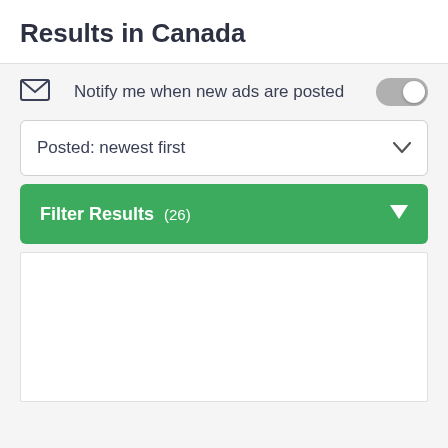Results in Canada
Notify me when new ads are posted
Posted: newest first
Filter Results (26)